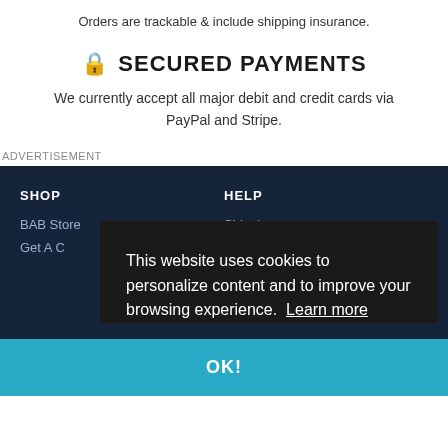Orders are trackable & include shipping insurance.
🔒 SECURED PAYMENTS
We currently accept all major debit and credit cards via PayPal and Stripe.
ADVERTISEMENT
SHOP
BAB Store
Get A C
HELP
Shipping
This website uses cookies to personalize content and to improve your browsing experience.  Learn more
OK!